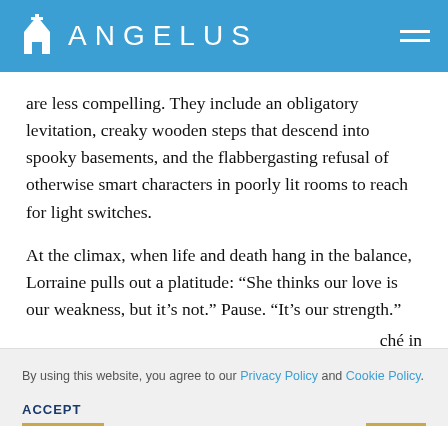ANGELUS
are less compelling. They include an obligatory levitation, creaky wooden steps that descend into spooky basements, and the flabbergasting refusal of otherwise smart characters in poorly lit rooms to reach for light switches.
At the climax, when life and death hang in the balance, Lorraine pulls out a platitude: “She thinks our love is our weakness, but it’s not.” Pause. “It’s our strength.”
ché in
By using this website, you agree to our Privacy Policy and Cookie Policy.
ACCEPT